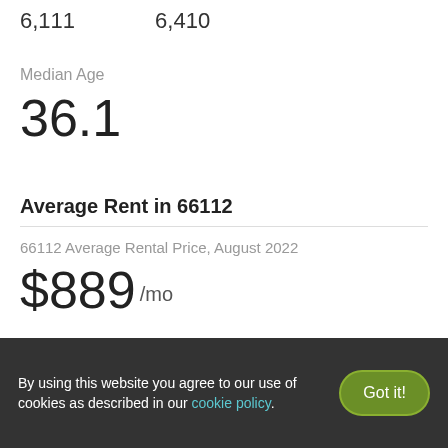6,111    6,410
Median Age
36.1
Average Rent in 66112
66112 Average Rental Price, August 2022
$889 /mo
By using this website you agree to our use of cookies as described in our cookie policy.